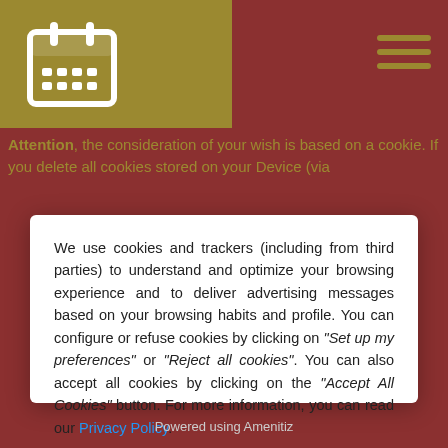[Figure (illustration): Gold/olive colored top-left navigation bar with a calendar icon]
[Figure (illustration): Hamburger menu icon (three horizontal lines) on the top right]
Attention, the consideration of your wish is based on a cookie. If you delete all cookies stored on your Device (via
We use cookies and trackers (including from third parties) to understand and optimize your browsing experience and to deliver advertising messages based on your browsing habits and profile. You can configure or refuse cookies by clicking on "Set up my preferences" or "Reject all cookies". You can also accept all cookies by clicking on the "Accept All Cookies" button. For more information, you can read our Privacy Policy.
Reject all cookies
Set up my preferences
Accept all cookies
Powered using Amenitiz